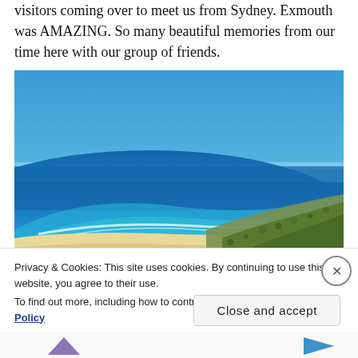visitors coming over to meet us from Sydney. Exmouth was AMAZING. So many beautiful memories from our time here with our group of friends.
[Figure (photo): Aerial coastal view of Exmouth, Western Australia, showing a sweeping bay with turquoise and deep blue ocean water, a white sandy beach, and scrubby arid vegetation on the right. Clear blue sky above.]
Privacy & Cookies: This site uses cookies. By continuing to use this website, you agree to their use.
To find out more, including how to control cookies, see here: Cookie Policy
Close and accept